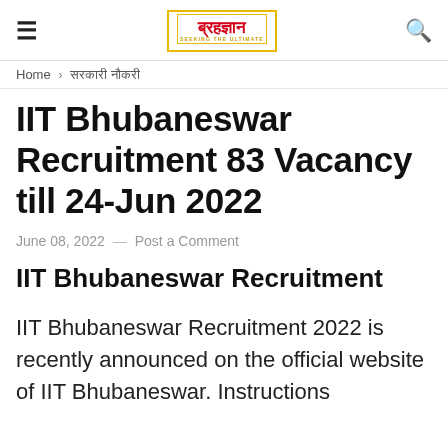ब्रह्ज्ञान — SEEKING THE ULTIMATE
Home > सरकारी नौकरी
IIT Bhubaneswar Recruitment 83 Vacancy till 24-Jun 2022
June 08, 2022 — Post a Comment
IIT Bhubaneswar Recruitment
IIT Bhubaneswar Recruitment 2022 is recently announced on the official website of IIT Bhubaneswar. Instructions